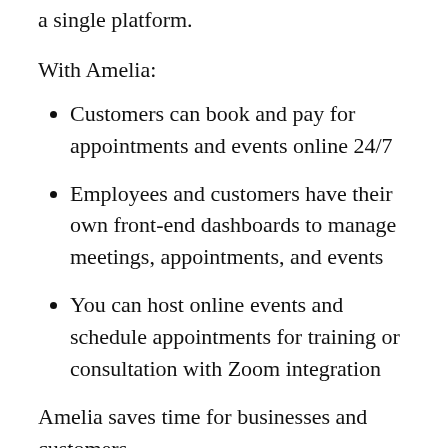plugin for managing appointments and events on a single platform.
With Amelia:
Customers can book and pay for appointments and events online 24/7
Employees and customers have their own front-end dashboards to manage meetings, appointments, and events
You can host online events and schedule appointments for training or consultation with Zoom integration
Amelia saves time for businesses and customers